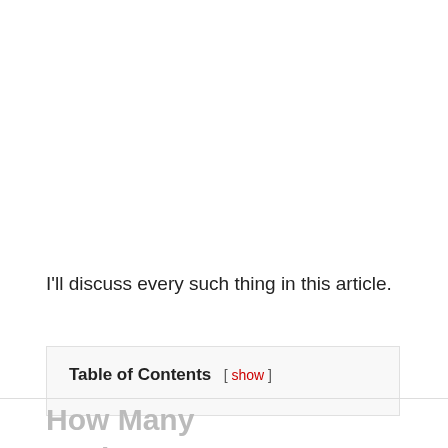I'll discuss every such thing in this article.
Table of Contents [ show ]
How Many Enchantments Can Armor Have?